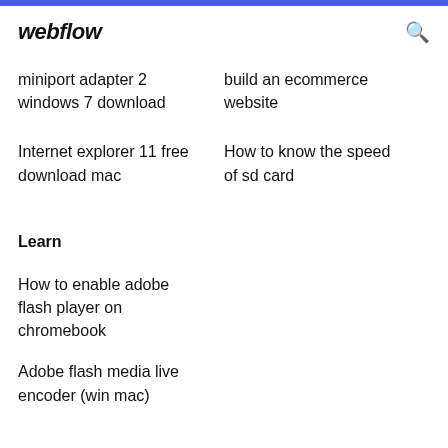webflow
miniport adapter 2 windows 7 download
build an ecommerce website
Internet explorer 11 free download mac
How to know the speed of sd card
Learn
How to enable adobe flash player on chromebook
Adobe flash media live encoder (win mac)